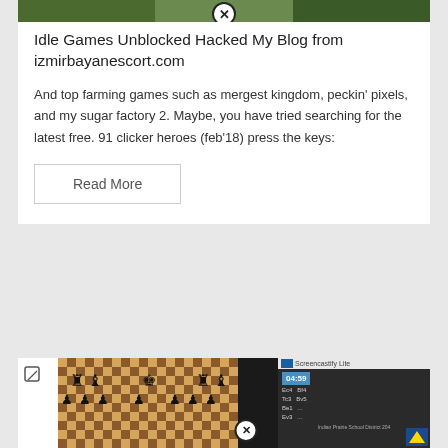[Figure (screenshot): Top image strip showing a game screenshot with green background, with a close/X button overlay]
Idle Games Unblocked Hacked My Blog from izmirbayanescort.com
And top farming games such as mergest kingdom, peckin' pixels, and my sugar factory 2. Maybe, you have tried searching for the latest free. 91 clicker heroes (feb'18) press the keys:
Read More
[Figure (screenshot): Bottom card showing a chess game screenshot with Screencastify Lite overlay, timer showing 04:59, and edit icon on left side. Close button visible. Indian Prairie School District logo visible.]